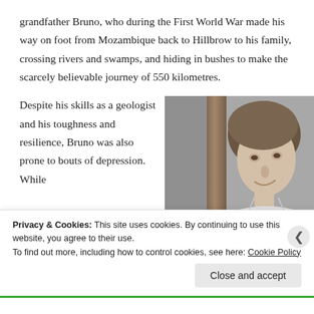grandfather Bruno, who during the First World War made his way on foot from Mozambique back to Hillbrow to his family, crossing rivers and swamps, and hiding in bushes to make the scarcely believable journey of 550 kilometres.
Despite his skills as a geologist and his toughness and resilience, Bruno was also prone to bouts of depression. While
[Figure (photo): Black and white photograph of a woman smiling slightly, looking to one side, with short wavy hair, standing near a wooden post or door frame.]
Privacy & Cookies: This site uses cookies. By continuing to use this website, you agree to their use.
To find out more, including how to control cookies, see here: Cookie Policy
Close and accept